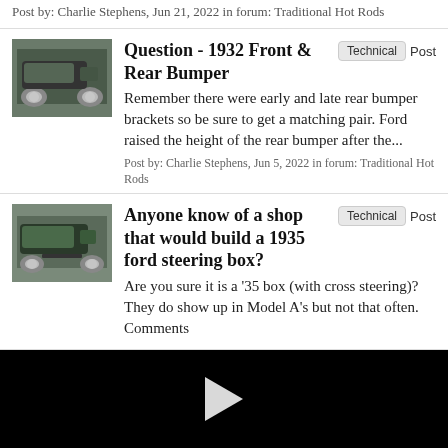Post by: Charlie Stephens, Jun 21, 2022 in forum: Traditional Hot Rods
Question - 1932 Front & Rear Bumper
Remember there were early and late rear bumper brackets so be sure to get a matching pair. Ford raised the height of the rear bumper after the...
Post by: Charlie Stephens, Jun 5, 2022 in forum: Traditional Hot Rods
Anyone know of a shop that would build a 1935 ford steering box?
Are you sure it is a '35 box (with cross steering)? They do show up in Model A's but not that often. Comments
[Figure (screenshot): Black video player area with a white play button triangle in the center]